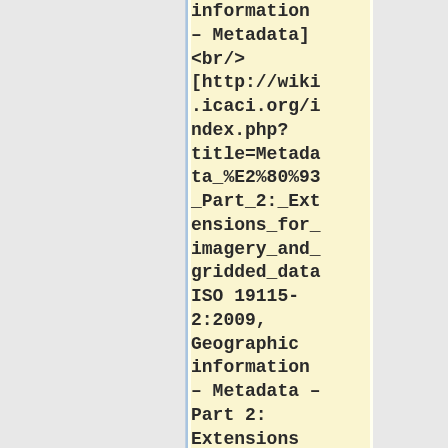information – Metadata]
<br/>
[http://wiki.icaci.org/index.php?title=Metadata_%E2%80%93_Part_2:_Extensions_for_imagery_and_gridded_data ISO 19115-2:2009, Geographic information – Metadata – Part 2: Extensions for imagery and gridded data